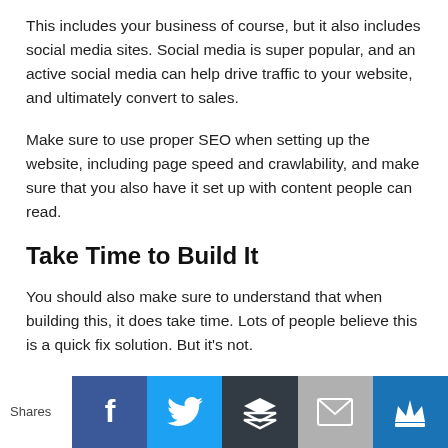This includes your business of course, but it also includes social media sites. Social media is super popular, and an active social media can help drive traffic to your website, and ultimately convert to sales.
Make sure to use proper SEO when setting up the website, including page speed and crawlability, and make sure that you also have it set up with content people can read.
Take Time to Build It
You should also make sure to understand that when building this, it does take time. Lots of people believe this is a quick fix solution. But it's not.
Building a website takes time and effort, and it can be stressful and detrimental to your mental health. Also, for some people, if they are depressed, anxious, or struggle with mental health, they
[Figure (infographic): Social share bar at the bottom with Shares label and five buttons: Facebook (blue), Twitter (light blue), Buffer (dark), Email (gray), Crown/King (dark blue)]